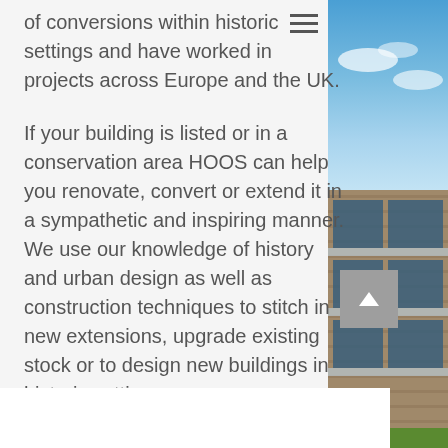of conversions within historic settings and have worked in projects across Europe and the UK.
If your building is listed or in a conservation area HOOS can help you renovate, convert or extend it in a sympathetic and inspiring manner. We use our knowledge of history and urban design as well as construction techniques to stitch in new extensions, upgrade existing stock or to design new buildings in historic settings.
Through thorough analysis of the building and its context we produce inspiring architecture that gains the necessary approvals and fits well within the historic environment.
[Figure (photo): Photograph of a modern brick building with glass balcony railings and blue sky, partially visible on the right side of the page]